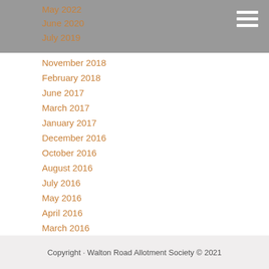May 2022 | June 2020 | July 2019
November 2018
February 2018
June 2017
March 2017
January 2017
December 2016
October 2016
August 2016
July 2016
May 2016
April 2016
March 2016
February 2016
Categories
All
Equipment
General Chat
How To Grow...
Copyright · Walton Road Allotment Society © 2021